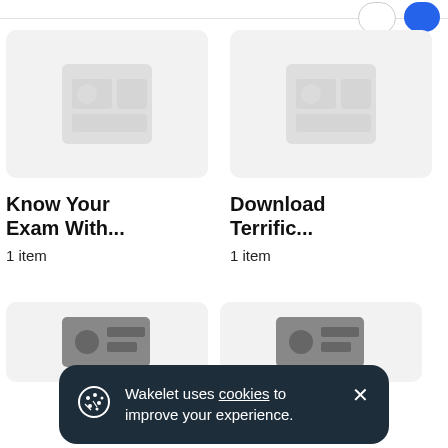[Figure (screenshot): Partially visible top navigation bar with outline and blue buttons]
[Figure (screenshot): Card thumbnail image placeholder for 'Know Your Exam With...' collection]
Know Your Exam With...
1 item
[Figure (screenshot): Card thumbnail image placeholder for 'Download Terrific...' collection]
Download Terrific...
1 item
[Figure (screenshot): Partial card thumbnails in a second row, partially visible at bottom]
Wakelet uses cookies to improve your experience.